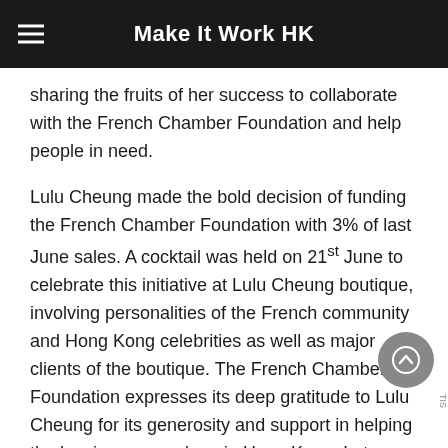Make It Work HK
sharing the fruits of her success to collaborate with the French Chamber Foundation and help people in need.
Lulu Cheung made the bold decision of funding the French Chamber Foundation with 3% of last June sales. A cocktail was held on 21st June to celebrate this initiative at Lulu Cheung boutique, involving personalities of the French community and Hong Kong celebrities as well as major clients of the boutique. The French Chamber Foundation expresses its deep gratitude to Lulu Cheung for its generosity and support in helping the low-income workers in Hong Kong. Let us hope this great initiative will inspire other entrepreneurs to launch similar actions in the future!
Lulu believes in nature, purity and simplicity, her creations are all based on the finest elements of life which fuses